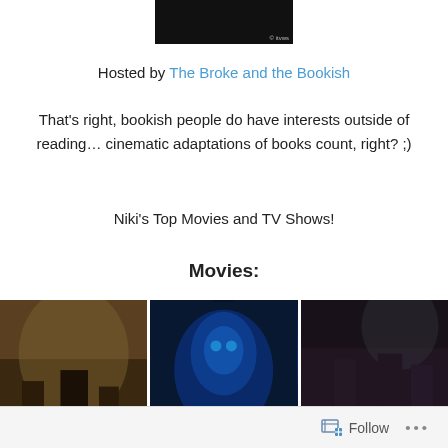[Figure (screenshot): Dark banner image at top of page, partially visible, appears to be a movie or TV show promotional image with copyright mark]
Hosted by The Broke and the Bookish
That's right, bookish people do have interests outside of reading… cinematic adaptations of books count, right? ;)
Niki's Top Movies and TV Shows!
Movies:
[Figure (photo): Three movie poster images side by side: Lord of the Rings, Avatar, and Snow White and the Huntsman]
Follow  ...